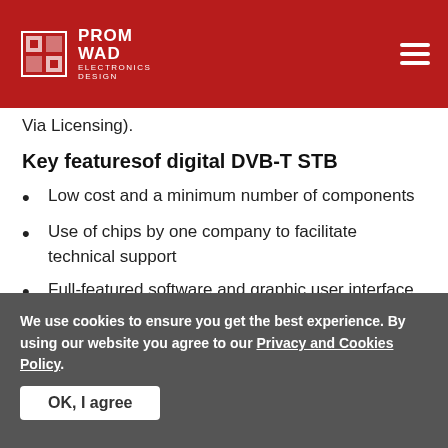PROMWAD ELECTRONICS DESIGN
Via Licensing).
Key featuresof digital DVB-T STB
Low cost and a minimum number of components
Use of chips by one company to facilitate technical support
Full-featured software and graphic user interface
Use of software and hardware graphics
We use cookies to ensure you get the best experience. By using our website you agree to our Privacy and Cookies Policy. OK, I agree